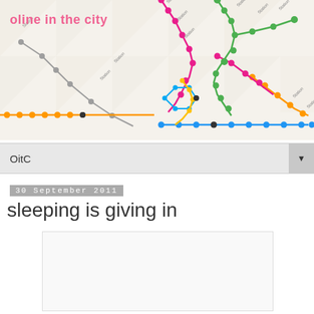[Figure (map): Transit/metro map showing colored lines (pink/red, green, orange, blue, gray, yellow) with station dots, overlaid with 'oline in the city' blog title in pink text]
OitC
30 September 2011
sleeping is giving in
[Figure (other): Empty white/light gray content box]